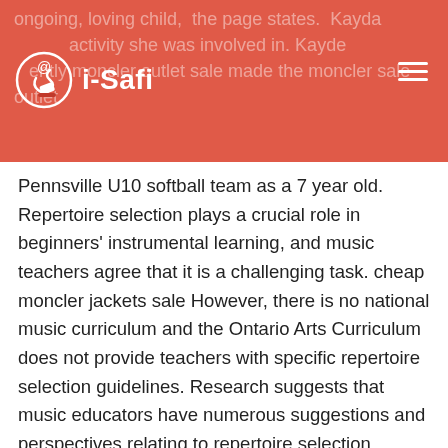i-Safi — navigation header with logo and background text partially visible
Pennsville U10 softball team as a 7 year old. Repertoire selection plays a crucial role in beginners' instrumental learning, and music teachers agree that it is a challenging task. cheap moncler jackets sale However, there is no national music curriculum and the Ontario Arts Curriculum does not provide teachers with specific repertoire selection guidelines. Research suggests that music educators have numerous suggestions and perspectives relating to repertoire selection, based on informed expert moncler Recommended Reading outlet store opinions. moncler usa
uk moncler outlet As they neared the shore, Mr Pendergast helped team mate Robert Behny unfurl a banner asking his girlfriend to cheap moncler coats marry him. After she said « yes », they celebrated on the